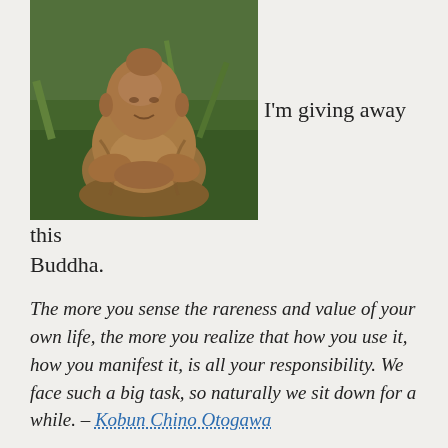[Figure (photo): A bronze/copper Buddha statue sitting among green plants and foliage outdoors.]
I'm giving away this Buddha.
The more you sense the rareness and value of your own life, the more you realize that how you use it, how you manifest it, is all your responsibility. We face such a big task, so naturally we sit down for a while. – Kobun Chino Otogawa
I ran into this quote the other day and it was like, Well, hello! Nice to meet ya! Because sometimes in my dinky little corner of the Buddhist world I feel like I'm the only one with any amount of faith. Faith in what, you ask? Well, faith in life. Faith in practice. Faith in teachers. And faith in the way that has saved my life